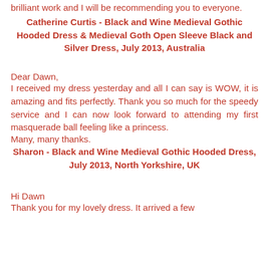brilliant work and I will be recommending you to everyone.
Catherine Curtis - Black and Wine Medieval Gothic Hooded Dress & Medieval Goth Open Sleeve Black and Silver Dress, July 2013, Australia
Dear Dawn,
I received my dress yesterday and all I can say is WOW, it is amazing and fits perfectly. Thank you so much for the speedy service and I can now look forward to attending my first masquerade ball feeling like a princess.
Many, many thanks.
Sharon - Black and Wine Medieval Gothic Hooded Dress, July 2013, North Yorkshire, UK
Hi Dawn
Thank you for my lovely dress. It arrived a few